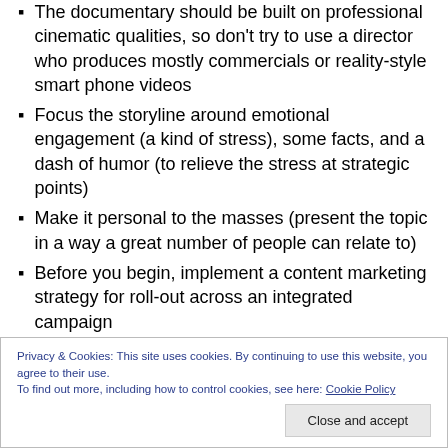The documentary should be built on professional cinematic qualities, so don't try to use a director who produces mostly commercials or reality-style smart phone videos
Focus the storyline around emotional engagement (a kind of stress), some facts, and a dash of humor (to relieve the stress at strategic points)
Make it personal to the masses (present the topic in a way a great number of people can relate to)
Before you begin, implement a content marketing strategy for roll-out across an integrated campaign
Privacy & Cookies: This site uses cookies. By continuing to use this website, you agree to their use. To find out more, including how to control cookies, see here: Cookie Policy